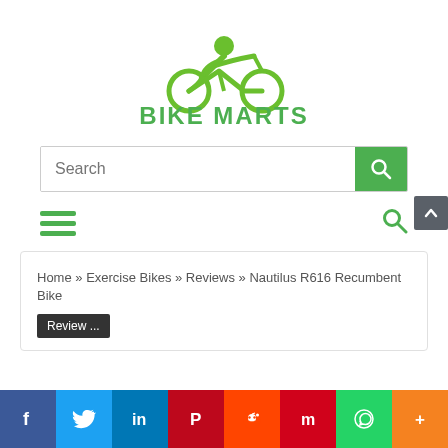[Figure (logo): Bike Marts logo — green cyclist icon above the text BIKE MARTS in green bold letters]
[Figure (screenshot): Search input box with placeholder text 'Search' and a green search button on the right]
[Figure (infographic): Navigation bar with green hamburger menu icon on left and green magnifying glass search icon on right, plus scroll-to-top button]
Home » Exercise Bikes » Reviews » Nautilus R616 Recumbent Bike
[Figure (screenshot): Social sharing bar at bottom with buttons: Facebook, Twitter, LinkedIn, Pinterest, Reddit, Mix, WhatsApp, More]